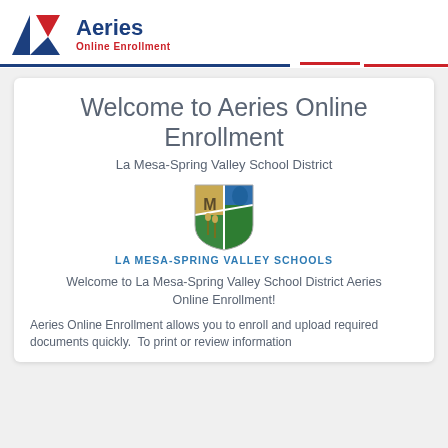[Figure (logo): Aeries Online Enrollment logo with blue and red geometric A icon and text 'Aeries Online Enrollment']
Welcome to Aeries Online Enrollment
La Mesa-Spring Valley School District
[Figure (logo): La Mesa-Spring Valley Schools shield logo with green, gold, blue segments and letter M]
LA MESA-SPRING VALLEY SCHOOLS
Welcome to La Mesa-Spring Valley School District Aeries Online Enrollment!
Aeries Online Enrollment allows you to enroll and upload required documents quickly.  To print or review information